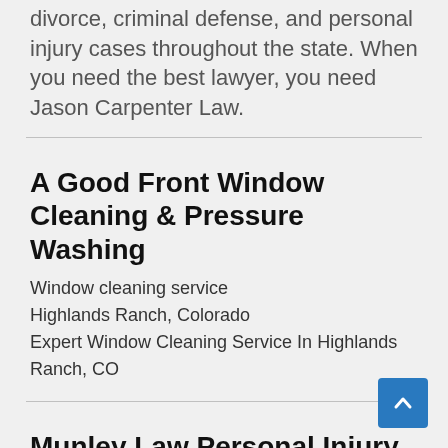divorce, criminal defense, and personal injury cases throughout the state. When you need the best lawyer, you need Jason Carpenter Law.
A Good Front Window Cleaning & Pressure Washing
Window cleaning service
Highlands Ranch, Colorado
Expert Window Cleaning Service In Highlands Ranch, CO
Munley Law Personal Injury Attorneys